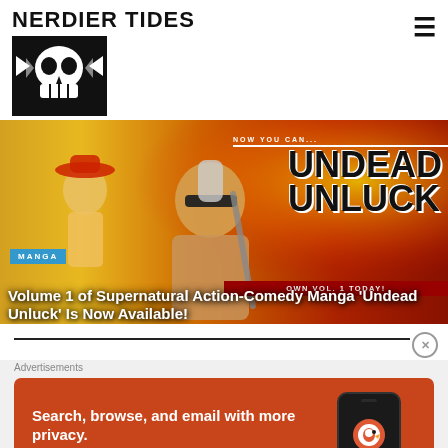NERDIER TIDES
[Figure (logo): Nerdier Tides skull logo - black and white skull icon]
[Figure (photo): Manga promotional banner for Undead Unluck Volume 1. Shows anime characters including a girl in a hat and a muscular man with tattoos. Text overlays: 'NOW YOU CAN...' at top, 'UNDEAD UNLUCK' in large letters on right side, 'OWN VOL. 1 TODAY!' at bottom right.]
MANGA
Volume 1 of Supernatural Action-Comedy Manga ‘Undead Unluck’ Is Now Available!
Advertisements
[Figure (screenshot): DuckDuckGo advertisement. Orange background. Text: 'Search, browse, and email with more privacy.' Button: 'All in One Free App'. Right side shows a phone mockup with DuckDuckGo logo and brand name.]